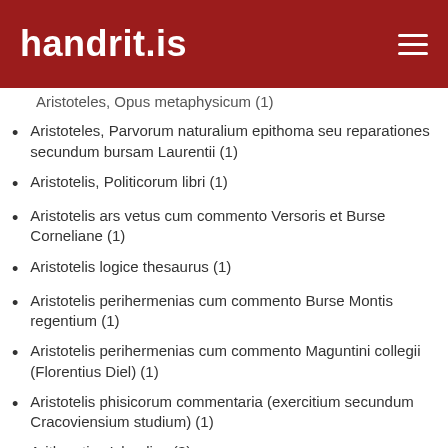handrit.is
Aristoteles, Opus metaphysicum (1)
Aristoteles, Parvorum naturalium epithoma seu reparationes secundum bursam Laurentii (1)
Aristotelis, Politicorum libri (1)
Aristotelis ars vetus cum commento Versoris et Burse Corneliane (1)
Aristotelis logice thesaurus (1)
Aristotelis perihermenias cum commento Burse Montis regentium (1)
Aristotelis perihermenias cum commento Maguntini collegii (Florentius Diel) (1)
Aristotelis phisicorum commentaria (exercitium secundum Cracoviensium studium) (1)
Arithmetica Islandica (3)